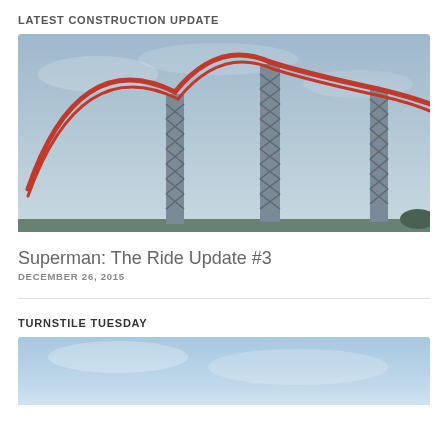LATEST CONSTRUCTION UPDATE
[Figure (photo): Construction photo of a roller coaster (Superman: The Ride) showing large steel support towers and red track arching overhead against a grey-blue sky.]
Superman: The Ride Update #3
DECEMBER 26, 2015
TURNSTILE TUESDAY
[Figure (photo): Partial photo showing blue sky, likely another roller coaster or park image, cropped at the bottom of the page.]